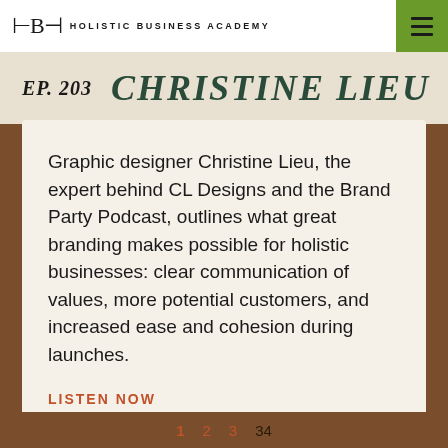HBA HOLISTIC BUSINESS ACADEMY
EP. 203 CHRISTINE LIEU
Graphic designer Christine Lieu, the expert behind CL Designs and the Brand Party Podcast, outlines what great branding makes possible for holistic businesses: clear communication of values, more potential customers, and increased ease and cohesion during launches.
LISTEN NOW
1 2 3 34